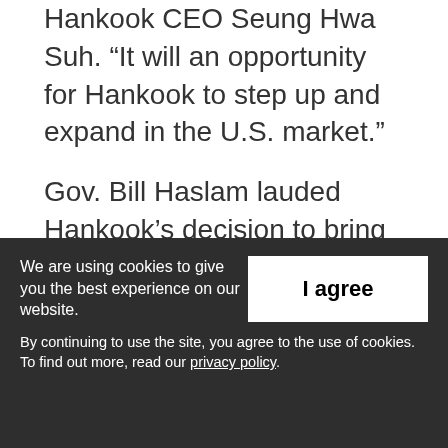Hankook CEO Seung Hwa Suh. “It will an opportunity for Hankook to step up and expand in the U.S. market.”
Gov. Bill Haslam lauded Hankook’s decision to bring its headquarters to Nashville.
ADVERTISEMENT
“We’re delighted when a company that’s already made a big investment in Tennessee decided to double down and make another,”
We are using cookies to give you the best experience on our website.
By continuing to use the site, you agree to the use of cookies.
To find out more, read our privacy policy.